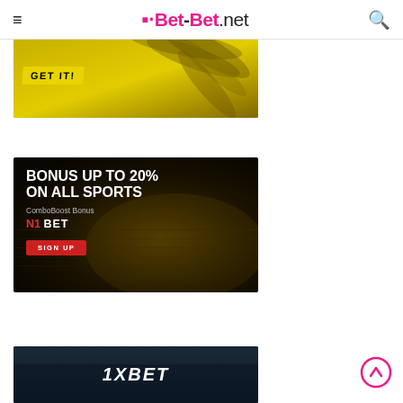Bet-Bet.net
[Figure (photo): Partial banner with yellow background and 'GET IT!' text label, with palm leaf overlay]
[Figure (photo): Dark gold background banner: 'BONUS UP TO 20% ON ALL SPORTS' ComboBoost Bonus N1 BET with SIGN UP button]
[Figure (photo): Dark background banner with '1XBET' logo text in white italic]
[Figure (other): Scroll-up circular button with upward arrow icon]